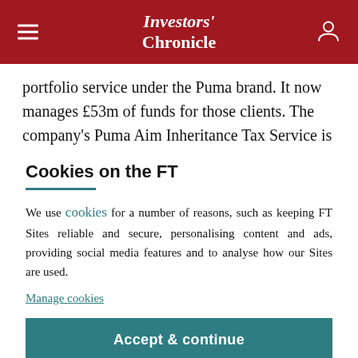Investors' Chronicle
portfolio service under the Puma brand. It now manages £53m of funds for those clients. The company's Puma Aim Inheritance Tax Service is
Cookies on the FT
We use cookies for a number of reasons, such as keeping FT Sites reliable and secure, personalising content and ads, providing social media features and to analyse how our Sites are used.
Manage cookies
Accept & continue